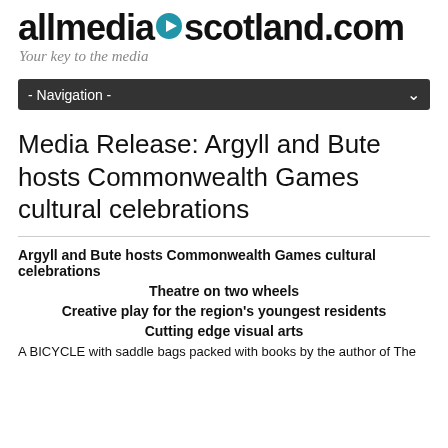allmediascotland.com
Your key to the media
- Navigation -
Media Release: Argyll and Bute hosts Commonwealth Games cultural celebrations
Argyll and Bute hosts Commonwealth Games cultural celebrations
Theatre on two wheels
Creative play for the region's youngest residents
Cutting edge visual arts
A BICYCLE with saddle bags packed with books by the author of The